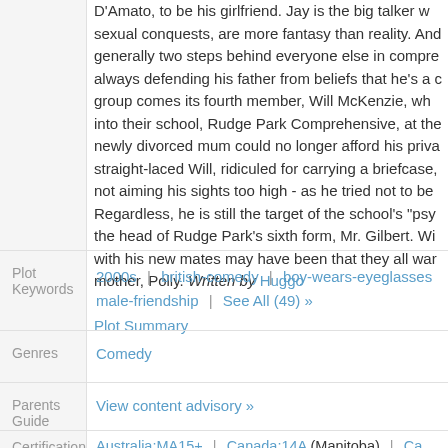D'Amato, to be his girlfriend. Jay is the big talker whose sexual conquests, are more fantasy than reality. And generally two steps behind everyone else in comprehending, always defending his father from beliefs that he's a ... group comes its fourth member, Will McKenzie, who into their school, Rudge Park Comprehensive, at the newly divorced mum could no longer afford his private straight-laced Will, ridiculed for carrying a briefcase, not aiming his sights too high - as he tried not to be... Regardless, he is still the target of the school's 'psy the head of Rudge Park's sixth form, Mr. Gilbert. Wi... with his new mates may have been that they all wa... mother, Polly. Written by Huggo
Plot Summary
| Label | Content |
| --- | --- |
| Plot Keywords | 2000s | british-comedy | boy-wears-eyeglasses | male-friendship | See All (49) » |
| Genres | Comedy |
| Parents Guide | View content advisory » |
| Certification | Australia:MA15+ | Canada:14A (Manitoba) | Ca... Chile:16+ (Netflix self-rating) | Finland:K-12 | Fin... |